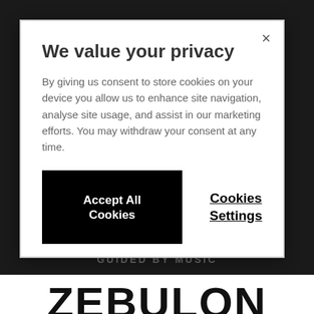We value your privacy
By giving us consent to store cookies on your device you allow us to enhance site navigation, analyse site usage, and assist in our marketing efforts. You may withdraw your consent at any time.
Accept All Cookies
Cookies Settings
GUIDED BY MUSIC
ZEBULON